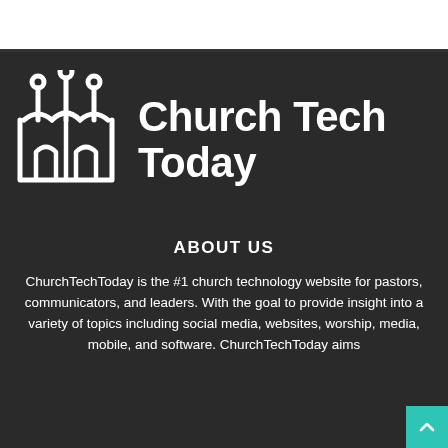[Figure (logo): Church Tech Today logo with stylized church/circuit board icon on dark background]
ABOUT US
ChurchTechToday is the #1 church technology website for pastors, communicators, and leaders. With the goal to provide insight into a variety of topics including social media, websites, worship, media, mobile, and software. ChurchTechToday aims